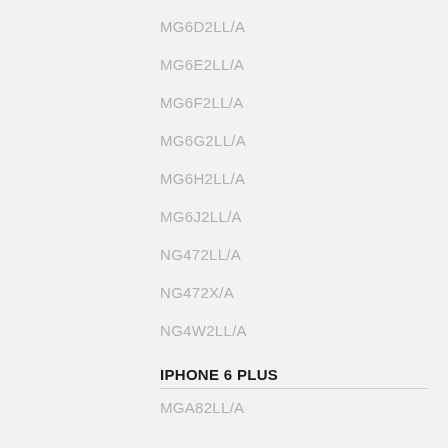MG6D2LL/A
MG6E2LL/A
MG6F2LL/A
MG6G2LL/A
MG6H2LL/A
MG6J2LL/A
NG472LL/A
NG472X/A
NG4W2LL/A
IPHONE 6 PLUS
MGA82LL/A